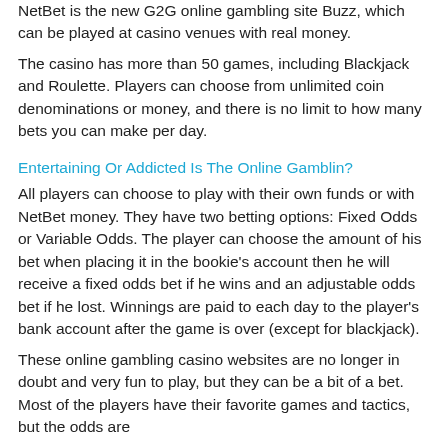NetBet is the new G2G online gambling site Buzz, which can be played at casino venues with real money.
The casino has more than 50 games, including Blackjack and Roulette. Players can choose from unlimited coin denominations or money, and there is no limit to how many bets you can make per day.
Entertaining Or Addicted Is The Online Gamblin?
All players can choose to play with their own funds or with NetBet money. They have two betting options: Fixed Odds or Variable Odds. The player can choose the amount of his bet when placing it in the bookie's account then he will receive a fixed odds bet if he wins and an adjustable odds bet if he lost. Winnings are paid to each day to the player's bank account after the game is over (except for blackjack).
These online gambling casino websites are no longer in doubt and very fun to play, but they can be a bit of a bet. Most of the players have their favorite games and tactics, but the odds are